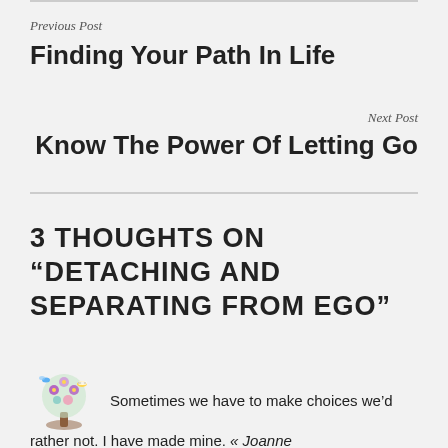Previous Post
Finding Your Path In Life
Next Post
Know The Power Of Letting Go
3 THOUGHTS ON “DETACHING AND SEPARATING FROM EGO”
[Figure (illustration): Decorative avatar icon showing a stylized tree with colorful flowers and a bee, used as a commenter's avatar.]
Sometimes we have to make choices we’d rather not. I have made mine. « Joanne